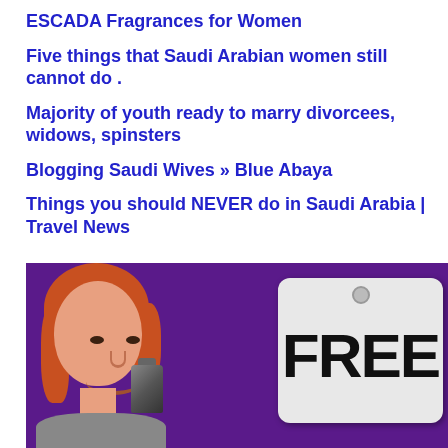ESCADA Fragrances for Women
Five things that Saudi Arabian women still cannot do .
Majority of youth ready to marry divorcees, widows, spinsters
Blogging Saudi Wives » Blue Abaya
Things you should NEVER do in Saudi Arabia | Travel News
[Figure (photo): A smiling red-haired woman holding a sign that reads FREE, against a purple background]